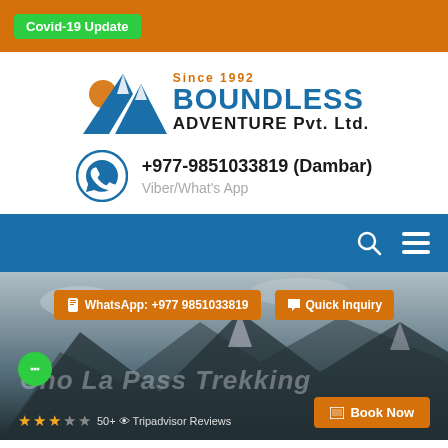Covid-19 Update
[Figure (logo): Boundless Adventure Pvt. Ltd. logo with mountain and sun graphic, Since 1992]
+977-9851033819 (Dambar) Viber/What's App
[Figure (screenshot): Blue navigation bar with search and menu icons]
[Figure (photo): Hero mountain background image with Cho La Pass Trekking title, WhatsApp button, Quick Inquiry button, Book Now button, star ratings and Tripadvisor reviews]
WhatsApp: +977 9851033819
Quick Inquiry
Cho La Pass Trekking
Book Now
50+ Tripadvisor Reviews